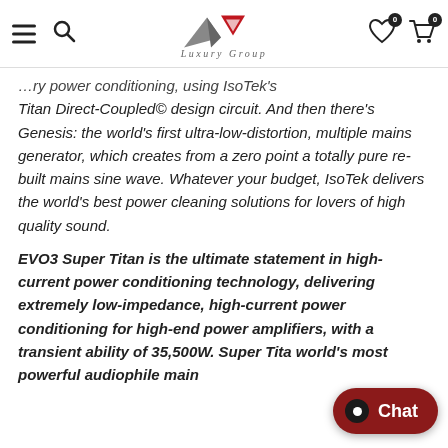Luxury Group — navigation bar with hamburger menu, search icon, logo, wishlist and cart icons
Titan Direct-Coupled© design circuit. And then there's Genesis: the world's first ultra-low-distortion, multiple mains generator, which creates from a zero point a totally pure re-built mains sine wave. Whatever your budget, IsoTek delivers the world's best power cleaning solutions for lovers of high quality sound.
EVO3 Super Titan is the ultimate statement in high-current power conditioning technology, delivering extremely low-impedance, high-current power conditioning for high-end power amplifiers, with a transient ability of 35,500W. Super Titan... world's most powerful audiophile main...